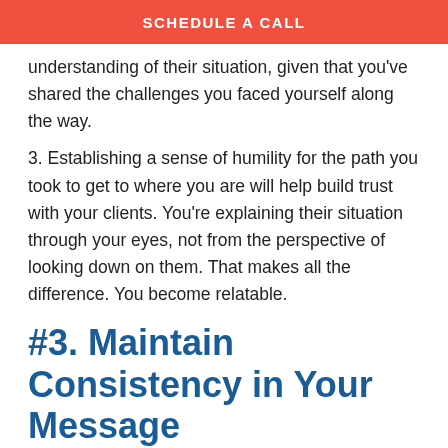SCHEDULE A CALL
understanding of their situation, given that you've shared the challenges you faced yourself along the way.
3. Establishing a sense of humility for the path you took to get to where you are will help build trust with your clients. You're explaining their situation through your eyes, not from the perspective of looking down on them. That makes all the difference. You become relatable.
#3. Maintain Consistency in Your Message